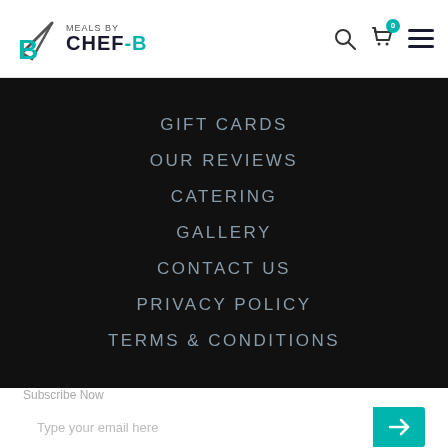Meals by Chef-B
GIFT CARDS
OUR REVIEWS
CATERING
GALLERY
CONTACT US
PRIVACY POLICY
TERMS & CONDITIONS
Subscribe Now
Type your email here